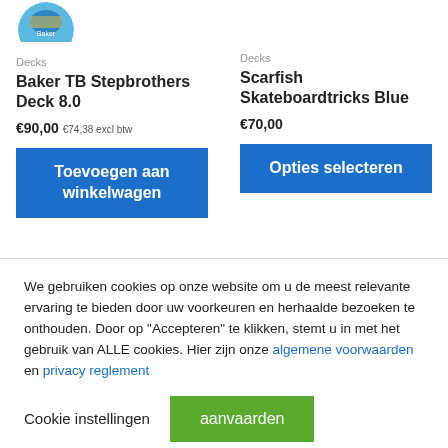[Figure (illustration): Circular product image thumbnail (partial, top-cropped) for Baker TB Stepbrothers Deck]
Decks
Baker TB Stepbrothers Deck 8.0
€90,00 €74,38 excl btw
Toevoegen aan winkelwagen
Decks
Scarfish Skateboardtricks Blue
€70,00
Opties selecteren
We gebruiken cookies op onze website om u de meest relevante ervaring te bieden door uw voorkeuren en herhaalde bezoeken te onthouden. Door op "Accepteren" te klikken, stemt u in met het gebruik van ALLE cookies. Hier zijn onze algemene voorwaarden en privacy reglement
Cookie instellingen
aanvaarden